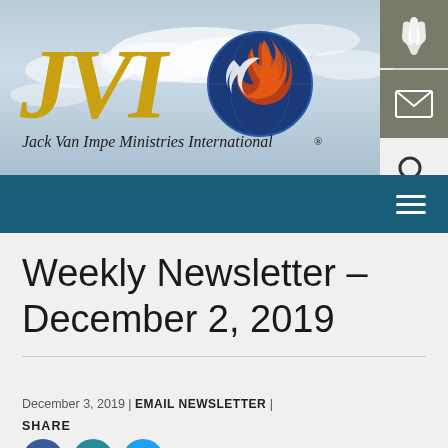[Figure (logo): JMI logo with golden italic letters and flame/bird icon, Jack Van Impe Ministries International wordmark]
[Figure (other): Navigation bar with hamburger menu icon (three horizontal lines) on dark teal background]
Weekly Newsletter – December 2, 2019
December 3, 2019 | EMAIL NEWSLETTER |
SHARE
[Figure (other): Social share icons: Facebook (blue circle with f), Email (teal envelope circle), Twitter (teal bird circle)]